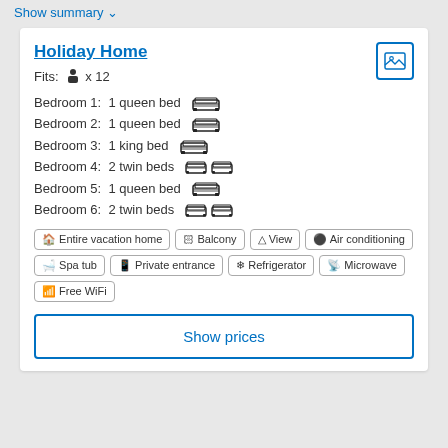Show summary ∨
Holiday Home
Fits: 👤 x 12
Bedroom 1: 1 queen bed 🛏
Bedroom 2: 1 queen bed 🛏
Bedroom 3: 1 king bed 🛏
Bedroom 4: 2 twin beds 🛏🛏
Bedroom 5: 1 queen bed 🛏
Bedroom 6: 2 twin beds 🛏🛏
🏠 Entire vacation home  🏛 Balcony  ⛰ View  🌐 Air conditioning  🛁 Spa tub  📱 Private entrance  🧊 Refrigerator  📡 Microwave  📶 Free WiFi
Show prices